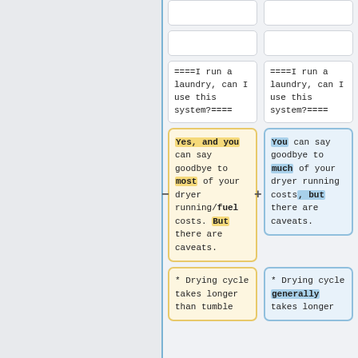====I run a laundry, can I use this system?====
====I run a laundry, can I use this system?====
Yes, and you can say goodbye to most of your dryer running/fuel costs. But there are caveats.
You can say goodbye to much of your dryer running costs, but there are caveats.
* Drying cycle takes longer than tumble
* Drying cycle generally takes longer